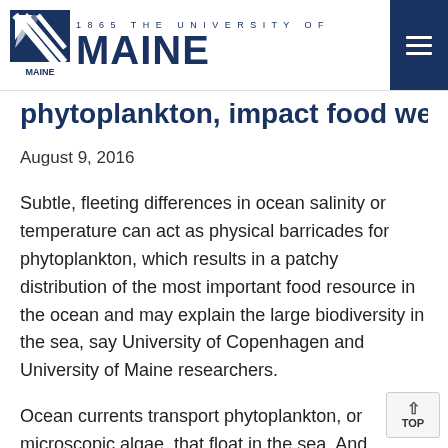1865 THE UNIVERSITY OF MAINE
phytoplankton, impact food web
August 9, 2016
Subtle, fleeting differences in ocean salinity or temperature can act as physical barricades for phytoplankton, which results in a patchy distribution of the most important food resource in the ocean and may explain the large biodiversity in the sea, say University of Copenhagen and University of Maine researchers.
Ocean currents transport phytoplankton, or microscopic algae, that float in the sea. And researchers say the composition of phytoplankton communities affects other microscopic organisms, fish and more below. And they constitute...